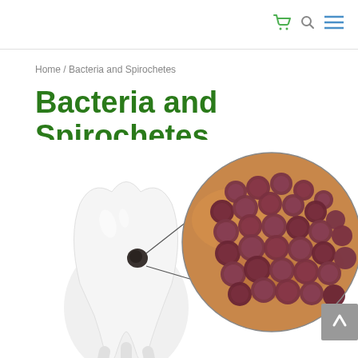Home / Bacteria and Spirochetes
Bacteria and Spirochetes
[Figure (illustration): Medical illustration showing a white tooth model with a dark cavity/caries spot, with a magnified circular inset showing close-up microscopic view of dark purple/red bacteria clusters (cocci) on an orange/red tissue background.]